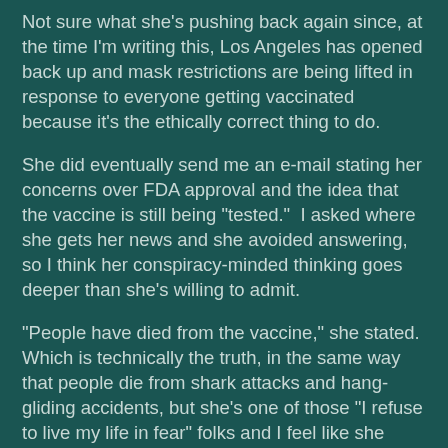Not sure what she's pushing back again since, at the time I'm writing this, Los Angeles has opened back up and mask restrictions are being lifted in response to everyone getting vaccinated because it's the ethically correct thing to do.
She did eventually send me an e-mail stating her concerns over FDA approval and the idea that the vaccine is still being "tested."  I asked where she gets her news and she avoided answering, so I think her conspiracy-minded thinking goes deeper than she's willing to admit.
"People have died from the vaccine," she stated.  Which is technically the truth, in the same way that people die from shark attacks and hang-gliding accidents, but she's one of those "I refuse to live my life in fear" folks and I feel like she should recognize that obviously, Covid has a MUCH higher death toll and long-term side effect issues than the vaccine does.
But it's not really about the vaccine.  It's about some personal sense of control and obstinate self-interest.  After all, if it were only about medical concerns, she could be convinced by talking to her two microbiologist friends.  If it